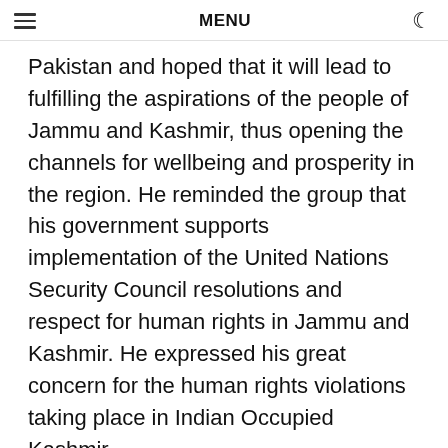MENU
Pakistan and hoped that it will lead to fulfilling the aspirations of the people of Jammu and Kashmir, thus opening the channels for wellbeing and prosperity in the region. He reminded the group that his government supports implementation of the United Nations Security Council resolutions and respect for human rights in Jammu and Kashmir. He expressed his great concern for the human rights violations taking place in Indian Occupied Kashmir.
Valuable friends,
Today, unfortunately, the people of Jammu & Kashmir are experiencing the horrors of state-sponsored terrorism on daily basis; extrajudicial